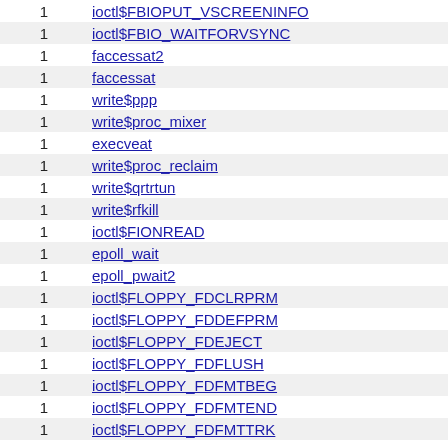| count | syscall |
| --- | --- |
| 1 | ioctl$FBIOPUT_VSCREENINFO |
| 1 | ioctl$FBIO_WAITFORVSYNC |
| 1 | faccessat2 |
| 1 | faccessat |
| 1 | write$ppp |
| 1 | write$proc_mixer |
| 1 | execveat |
| 1 | write$proc_reclaim |
| 1 | write$qrtrtun |
| 1 | write$rfkill |
| 1 | ioctl$FIONREAD |
| 1 | epoll_wait |
| 1 | epoll_pwait2 |
| 1 | ioctl$FLOPPY_FDCLRPRM |
| 1 | ioctl$FLOPPY_FDDEFPRM |
| 1 | ioctl$FLOPPY_FDEJECT |
| 1 | ioctl$FLOPPY_FDFLUSH |
| 1 | ioctl$FLOPPY_FDFMTBEG |
| 1 | ioctl$FLOPPY_FDFMTEND |
| 1 | ioctl$FLOPPY_FDFMTTRK |